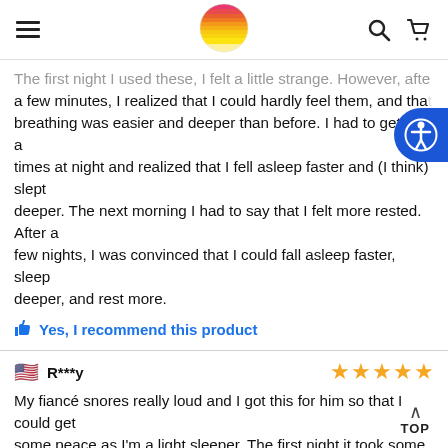Navigation header with hamburger menu, sun logo, search and cart icons
The first night I used these, I felt a little strange. However, after a few minutes, I realized that I could hardly feel them, and that breathing was easier and deeper than before. I had to get up a few times at night and realized that I fell asleep faster and (I think) slept deeper. The next morning I had to say that I felt more rested. After a few nights, I was convinced that I could fall asleep faster, sleep deeper, and rest more.
Yes, I recommend this product
R***y — 5 stars
My fiancé snores really loud and I got this for him so that I could get some peace as I'm a light sleeper. The first night it took some getting used to using it as I did hear some snoring. The second night was better, hardly heard anything. I'd recommend this to anyone looking to get some peace and quiet.
Yes, I recommend this product